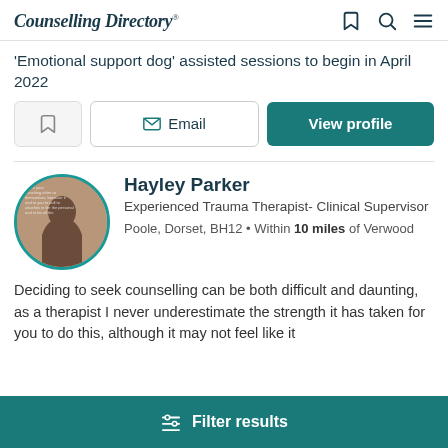Counselling Directory
'Emotional support dog' assisted sessions to begin in April 2022
Save | Email | View profile
Hayley Parker
Experienced Trauma Therapist- Clinical Supervisor
Poole, Dorset, BH12 • Within 10 miles of Verwood
Deciding to seek counselling can be both difficult and daunting, as a therapist I never underestimate the strength it has taken for you to do this, although it may not feel like it
Filter results